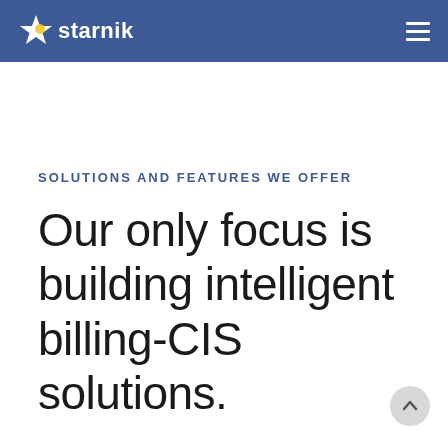starnik
SOLUTIONS AND FEATURES WE OFFER
Our only focus is building intelligent billing-CIS solutions.